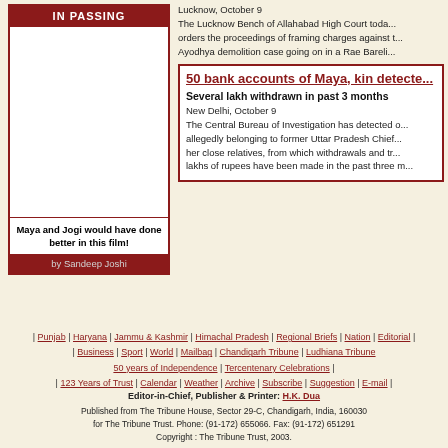[Figure (illustration): IN PASSING cartoon box with header, blank/illustration area, caption 'Maya and Jogi would have done better in this film!' and byline 'by Sandeep Joshi']
Lucknow, October 9
The Lucknow Bench of Allahabad High Court toda... orders the proceedings of framing charges against t... Ayodhya demolition case going on in a Rae Bareli...
50 bank accounts of Maya, kin detecte...
Several lakh withdrawn in past 3 months
New Delhi, October 9
The Central Bureau of Investigation has detected o... allegedly belonging to former Uttar Pradesh Chief... her close relatives, from which withdrawals and tr... lakhs of rupees have been made in the past three m...
| Punjab | Haryana | Jammu & Kashmir | Himachal Pradesh | Regional Briefs | Nation | Editorial | | Business | Sport | World | Mailbag | Chandigarh Tribune | Ludhiana Tribune 50 years of Independence | Tercentenary Celebrations | | 123 Years of Trust | Calendar | Weather | Archive | Subscribe | Suggestion | E-mail |
Editor-in-Chief, Publisher & Printer: H.K. Dua Published from The Tribune House, Sector 29-C, Chandigarh, India, 160030 for The Tribune Trust. Phone: (91-172) 655066. Fax: (91-172) 651291 Copyright : The Tribune Trust, 2003.